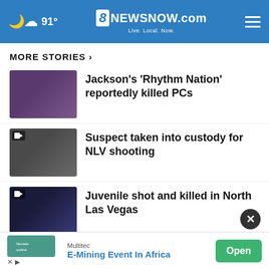91° 8NewsNow.com Live. Local. Now.
MORE STORIES ›
Jackson's 'Rhythm Nation' reportedly killed PCs
Suspect taken into custody for NLV shooting
Juvenile shot and killed in North Las Vegas
Police: Man arrested for sexual assault of a child
Community level still (low) as COVID-
Multitec E-Mining Event In Africa Open